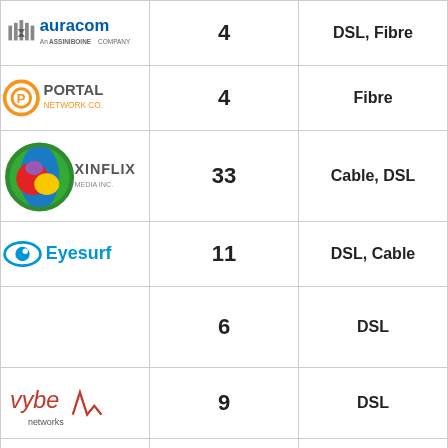| Company | Number | Type |
| --- | --- | --- |
| auracom (An ASSINIBOINE COMPANY) | 4 | DSL, Fibre |
| PORTAL Network Co. | 4 | Fibre |
| XINFLIX Media Inc. | 33 | Cable, DSL |
| Eyesurf | 11 | DSL, Cable |
|  | 6 | DSL |
| vybe networks | 9 | DSL |
| vaxxine.com | 10 | Cable, DSL |